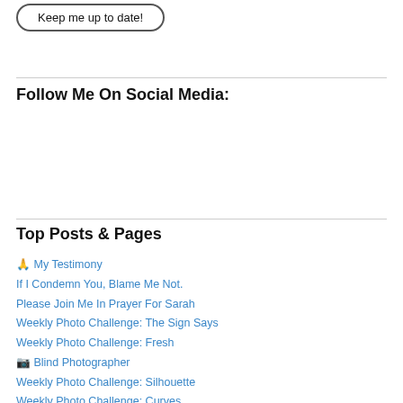Keep me up to date!
Follow Me On Social Media:
Top Posts & Pages
🙏 My Testimony
If I Condemn You, Blame Me Not.
Please Join Me In Prayer For Sarah
Weekly Photo Challenge: The Sign Says
Weekly Photo Challenge: Fresh
📷 Blind Photographer
Weekly Photo Challenge: Silhouette
Weekly Photo Challenge: Curves